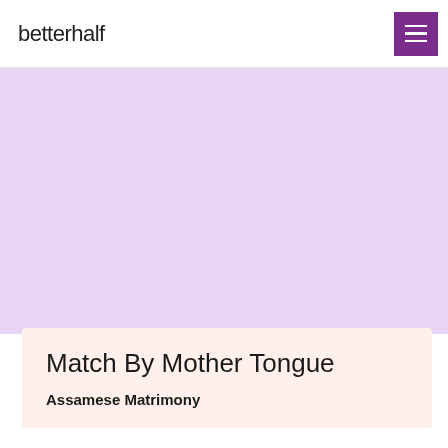betterhalf
[Figure (other): Light purple/lavender hero banner area, blank decorative background]
Match By Mother Tongue
Assamese Matrimony